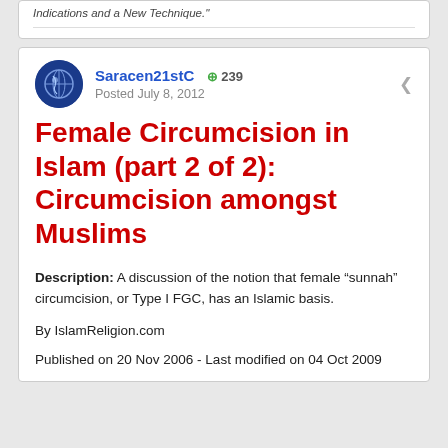Indications and a New Technique."
Saracen21stC  +239
Posted July 8, 2012
Female Circumcision in Islam (part 2 of 2): Circumcision amongst Muslims
Description: A discussion of the notion that female “sunnah” circumcision, or Type I FGC, has an Islamic basis.
By IslamReligion.com
Published on 20 Nov 2006 - Last modified on 04 Oct 2009